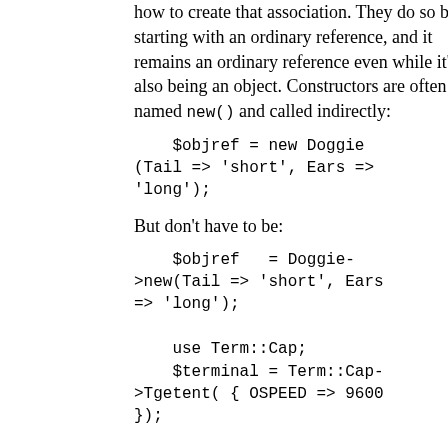how to create that association. They do so by starting with an ordinary reference, and it remains an ordinary reference even while it's also being an object. Constructors are often named new() and called indirectly:
But don't have to be: